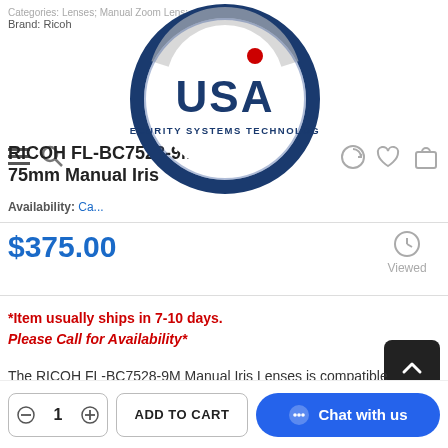Categories: Lenses; Manual Zoom Lens; manual-zoom
Brand: Ricoh
[Figure (logo): USA Security Systems Technology circular logo with blue ring and red dot]
RICOH FL-BC7528-9M (9MP) 75mm Manual Iris...
Availability: Ca...
$375.00
Viewed
*Item usually ships in 7-10 days. Please Call for Availability*
The RICOH FL-BC7528-9M Manual Iris Lenses is compatible with 1" format cameras up to 9 megapixels.